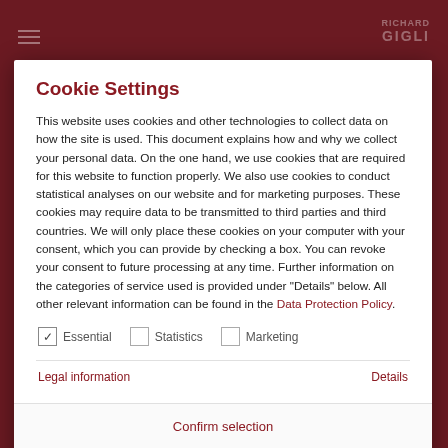Cookie Settings
This website uses cookies and other technologies to collect data on how the site is used. This document explains how and why we collect your personal data. On the one hand, we use cookies that are required for this website to function properly. We also use cookies to conduct statistical analyses on our website and for marketing purposes. These cookies may require data to be transmitted to third parties and third countries. We will only place these cookies on your computer with your consent, which you can provide by checking a box. You can revoke your consent to future processing at any time. Further information on the categories of service used is provided under "Details" below. All other relevant information can be found in the Data Protection Policy.
Essential (checked)
Statistics
Marketing
Legal information
Details
Confirm selection
SELECT ALL